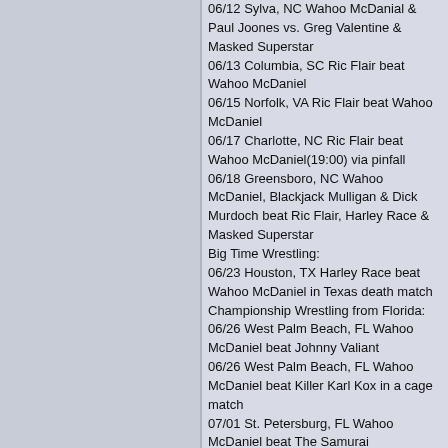06/12 Sylva, NC Wahoo McDanial & Paul Joones vs. Greg Valentine & Masked Superstar
06/13 Columbia, SC Ric Flair beat Wahoo McDaniel
06/15 Norfolk, VA Ric Flair beat Wahoo McDaniel
06/17 Charlotte, NC Ric Flair beat Wahoo McDaniel(19:00) via pinfall
06/18 Greensboro, NC Wahoo McDaniel, Blackjack Mulligan & Dick Murdoch beat Ric Flair, Harley Race & Masked Superstar
Big Time Wrestling:
06/23 Houston, TX Harley Race beat Wahoo McDaniel in Texas death match
Championship Wrestling from Florida:
06/26 West Palm Beach, FL Wahoo McDaniel beat Johnny Valiant
06/26 West Palm Beach, FL Wahoo McDaniel beat Killer Karl Kox in a cage match
07/01 St. Petersburg, FL Wahoo McDaniel beat The Samurai
07/02 Orlando, FL Wahoo McDaniel beat Johnny Valiant
07/03 West Palm Beach, FL Wahoo McDaniel, Jack & Jerry Brisco beat The Spoilers I & II & Bobby Duncum
07/04 Tampa, FL Wahoo McDaniel & Jerry Brisco vs. Bobby Duncum & Spoiler II
07/05 Miami, FL Wahoo McDaniel beat Spoiler II
American Wrestling Association:
07/07 Denver, CO Nick Bockwinkel beat Wahoo McDaniel(13:54) by DQ
07/08 Minneapolis, MN(TV) Wahoo McDaniel beat Jake Gusick
07/08 Rockford, IL Nick Bockwinkel beat Wahoo McDaniel by DQ
07/09 Green Bay, WI Wahoo McDaniel & Frank